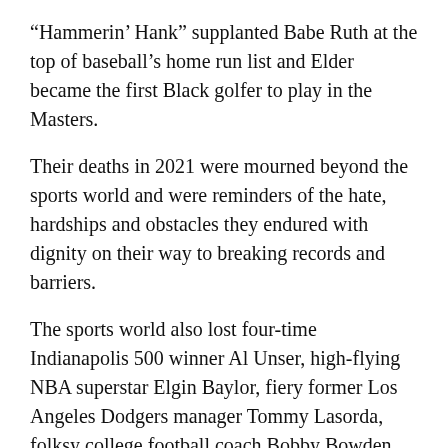“Hammerin’ Hank” supplanted Babe Ruth at the top of baseball’s home run list and Elder became the first Black golfer to play in the Masters.
Their deaths in 2021 were mourned beyond the sports world and were reminders of the hate, hardships and obstacles they endured with dignity on their way to breaking records and barriers.
The sports world also lost four-time Indianapolis 500 winner Al Unser, high-flying NBA superstar Elgin Baylor, fiery former Los Angeles Dodgers manager Tommy Lasorda, folksy college football coach Bobby Bowden and controversial Kentucky Derby winner Medina Spirit.
John Madden, the Hall of Fame coach turned broadcaster whose exuberant calls combined with simple explanations provided a weekly soundtrack to NFL games for three decades, died three days after